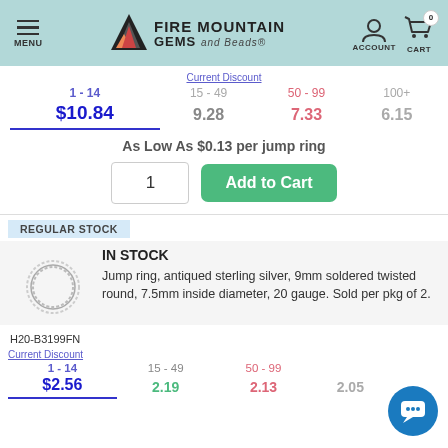[Figure (logo): Fire Mountain Gems and Beads logo with mountain/flame icon, menu hamburger, account and cart icons in teal header]
| 1 - 14 | 15 - 49 | 50 - 99 | 100+ |
| --- | --- | --- | --- |
| $10.84 | 9.28 | 7.33 | 6.15 |
As Low As $0.13 per jump ring
1  Add to Cart
REGULAR STOCK
IN STOCK
[Figure (photo): Small circular jump ring, antiqued sterling silver, twisted round]
Jump ring, antiqued sterling silver, 9mm soldered twisted round, 7.5mm inside diameter, 20 gauge. Sold per pkg of 2.
H20-B3199FN
| 1 - 14 | 15 - 49 | 50 - 99 | 100+ |
| --- | --- | --- | --- |
| $2.56 | 2.19 | 2.13 | 2.05 |